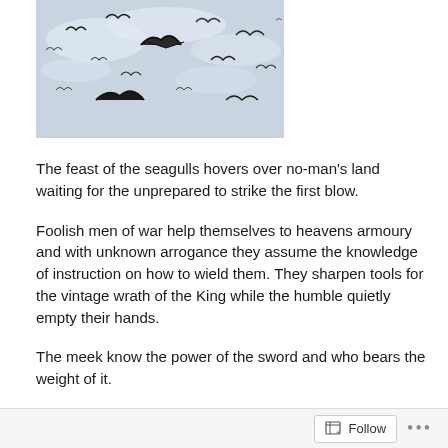[Figure (photo): Flock of seagulls or birds in flight against a light sky with clouds, viewed from below]
The feast of the seagulls hovers over no-man's land waiting for the unprepared to strike the first blow.
Foolish men of war help themselves to heavens armoury and with unknown arrogance they assume the knowledge of instruction on how to wield them. They sharpen tools for the vintage wrath of the King while the humble quietly empty their hands.
The meek know the power of the sword and who bears the weight of it.
The visible bride veils the true bride as she readies in the
Follow ...